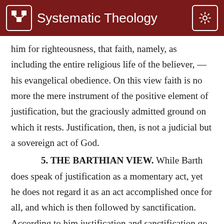Systematic Theology
him for righteousness, that faith, namely, as including the entire religious life of the believer, — his evangelical obedience. On this view faith is no more the mere instrument of the positive element of justification, but the graciously admitted ground on which it rests. Justification, then, is not a judicial but a sovereign act of God.
5. THE BARTHIAN VIEW. While Barth does speak of justification as a momentary act, yet he does not regard it as an act accomplished once for all, and which is then followed by sanctification. According to him justification and sanctification go hand in hand all along the line. Pauck says that